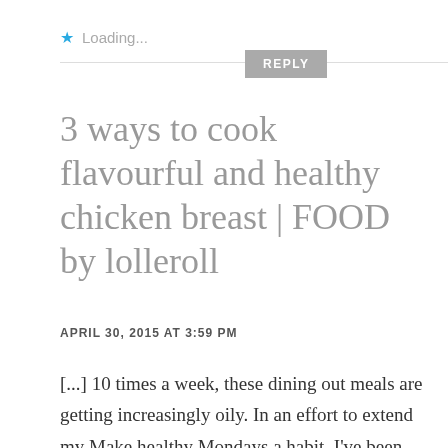Loading...
3 ways to cook flavourful and healthy chicken breast | FOOD by lolleroll
APRIL 30, 2015 AT 3:59 PM
[...] 10 times a week, these dining out meals are getting increasingly oily. In an effort to extend my Make healthy Mondays a habit, I've been trying to dish